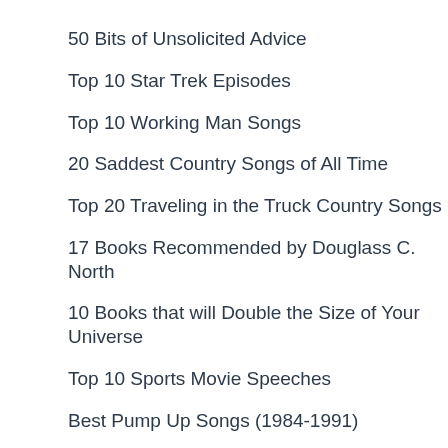50 Bits of Unsolicited Advice
Top 10 Star Trek Episodes
Top 10 Working Man Songs
20 Saddest Country Songs of All Time
Top 20 Traveling in the Truck Country Songs
17 Books Recommended by Douglass C. North
10 Books that will Double the Size of Your Universe
Top 10 Sports Movie Speeches
Best Pump Up Songs (1984-1991)